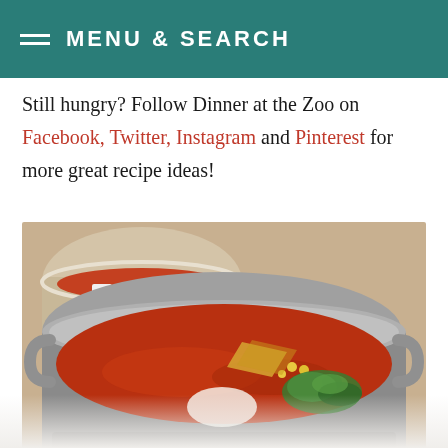MENU & SEARCH
Still hungry? Follow Dinner at the Zoo on Facebook, Twitter, Instagram and Pinterest for more great recipe ideas!
[Figure (photo): Close-up photograph of bowls of tomato-based soup garnished with cilantro, tortilla chips, corn, and beans in rustic metal bowls, with additional bowls visible in the background.]